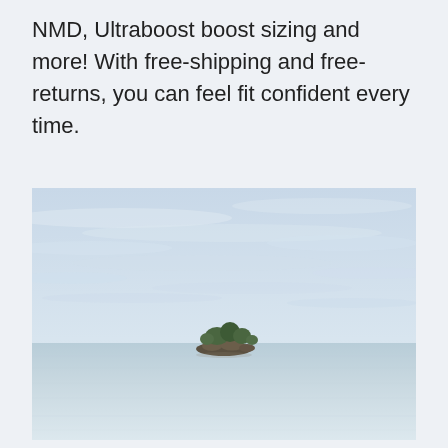NMD, Ultraboost boost sizing and more! With free-shipping and free-returns, you can feel fit confident every time.
[Figure (photo): Minimalist seascape photograph showing a small rocky island with trees in calm, pale blue-grey water under an overcast sky with soft wispy clouds.]